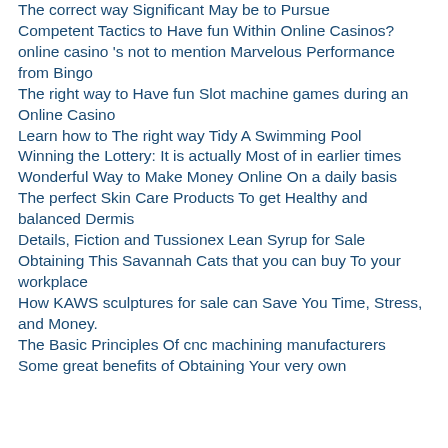The correct way Significant May be to Pursue
Competent Tactics to Have fun Within Online Casinos?
online casino 's not to mention Marvelous Performance from Bingo
The right way to Have fun Slot machine games during an Online Casino
Learn how to The right way Tidy A Swimming Pool
Winning the Lottery: It is actually Most of in earlier times
Wonderful Way to Make Money Online On a daily basis
The perfect Skin Care Products To get Healthy and balanced Dermis
Details, Fiction and Tussionex Lean Syrup for Sale
Obtaining This Savannah Cats that you can buy To your workplace
How KAWS sculptures for sale can Save You Time, Stress, and Money.
The Basic Principles Of cnc machining manufacturers
Some great benefits of Obtaining Your very own